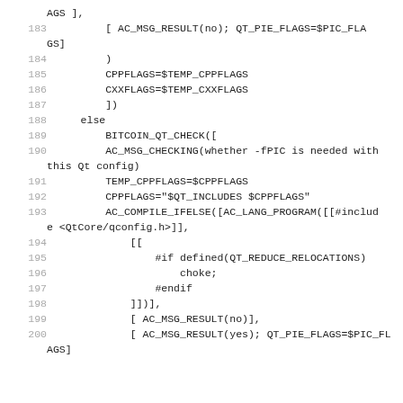Code listing lines 182-200, shell/autoconf script
AGS ],
183    [ AC_MSG_RESULT(no); QT_PIE_FLAGS=$PIC_FLAGS]
184    )
185    CPPFLAGS=$TEMP_CPPFLAGS
186    CXXFLAGS=$TEMP_CXXFLAGS
187    ])
188  else
189    BITCOIN_QT_CHECK([
190    AC_MSG_CHECKING(whether -fPIC is needed with this Qt config)
191    TEMP_CPPFLAGS=$CPPFLAGS
192    CPPFLAGS="$QT_INCLUDES $CPPFLAGS"
193    AC_COMPILE_IFELSE([AC_LANG_PROGRAM([[#include <QtCore/qconfig.h>]],
194        [[
195            #if defined(QT_REDUCE_RELOCATIONS)
196                choke;
197            #endif
198        ]])],
199        [ AC_MSG_RESULT(no)],
200        [ AC_MSG_RESULT(yes); QT_PIE_FLAGS=$PIC_FLAGS]